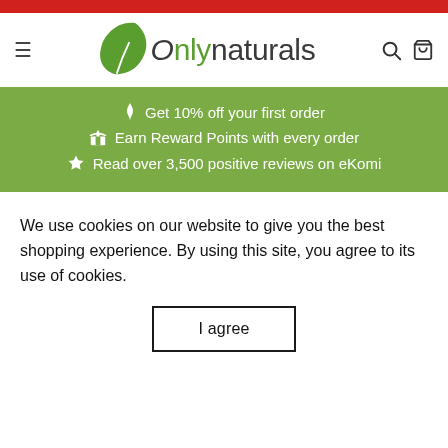Only Naturals website header with red top bar, logo, hamburger menu, search and cart icons
[Figure (logo): OnlyNaturals logo with green leaf icon and text 'Onlynaturals']
Get 10% off your first order
Earn Reward Points with every order
Read over 3,500 positive reviews on eKomi
We use cookies on our website to give you the best shopping experience. By using this site, you agree to its use of cookies.
I agree